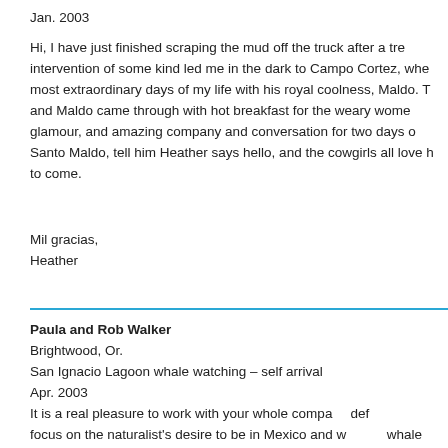Jan. 2003
Hi, I have just finished scraping the mud off the truck after a tre... intervention of some kind led me in the dark to Campo Cortez, whe... most extraordinary days of my life with his royal coolness, Maldo. T... and Maldo came through with hot breakfast for the weary wome... glamour, and amazing company and conversation for two days o... Santo Maldo, tell him Heather says hello, and the cowgirls all love h... to come.
Mil gracias,
Heather
Paula and Rob Walker
Brightwood, Or.
San Ignacio Lagoon whale watching – self arrival
Apr. 2003
It is a real pleasure to work with your whole compa... def... focus on the naturalist's desire to be in Mexico and w... the whale... integrity in your dealings.